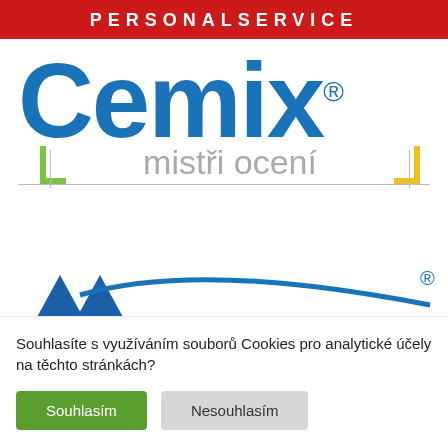PERSONALSERVICE
[Figure (logo): Cemix logo with blue bold text 'Cemix' and registered trademark symbol, subtitle 'mistři ocení' in grey with green and yellow L-shaped brackets and a horizontal line]
[Figure (logo): Partially visible logo at bottom of Cemix content area, showing blue arc/curve and registered trademark symbol]
Souhlasíte s využíváním souborů Cookies pro analytické účely na těchto stránkách?
Souhlasím
Nesouhlasím